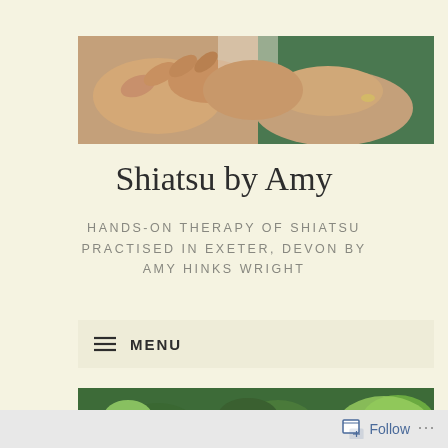[Figure (photo): Close-up of two hands held together in a therapeutic grip, with a green sleeve visible on one arm and a ring on a finger]
Shiatsu by Amy
HANDS-ON THERAPY OF SHIATSU PRACTISED IN EXETER, DEVON BY AMY HINKS WRIGHT
≡ MENU
[Figure (photo): Lush green leafy plants/garden foliage, partially visible at the bottom of the page]
Follow ...